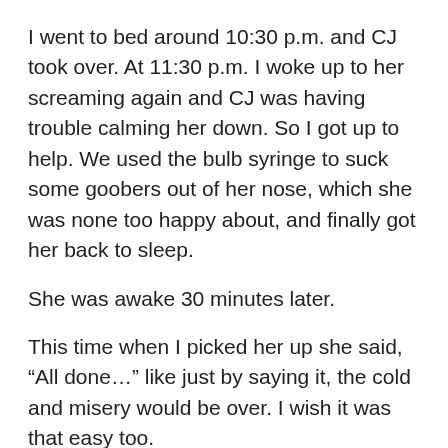I went to bed around 10:30 p.m. and CJ took over. At 11:30 p.m. I woke up to her screaming again and CJ was having trouble calming her down. So I got up to help. We used the bulb syringe to suck some goobers out of her nose, which she was none too happy about, and finally got her back to sleep.
She was awake 30 minutes later.
This time when I picked her up she said, “All done…” like just by saying it, the cold and misery would be over. I wish it was that easy too.
I finally decided that the only way to keep her asleep, and us from getting up and out of bed all night, was to just have her lay down with me. If I brought her in to our bed, she'd keep us both up, so I took her out to the living room